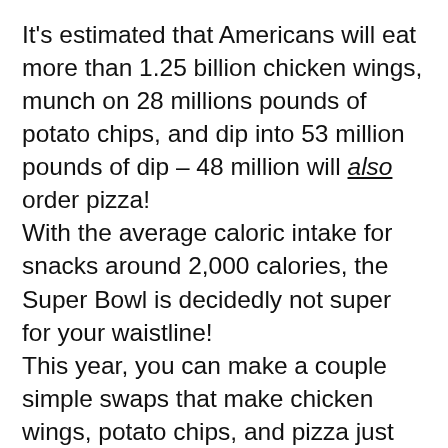It's estimated that Americans will eat more than 1.25 billion chicken wings, munch on 28 millions pounds of potato chips, and dip into 53 million pounds of dip – 48 million will also order pizza!
With the average caloric intake for snacks around 2,000 calories, the Super Bowl is decidedly not super for your waistline!
This year, you can make a couple simple swaps that make chicken wings, potato chips, and pizza just as delicious as the real thing minus all the unhealthy calories. The only difference you and your guests will notice is that you're not miserably stuffed